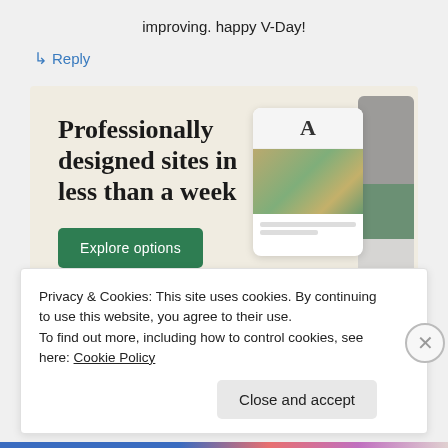improving. happy V-Day!
↳ Reply
[Figure (illustration): Advertisement banner with beige background showing text 'Professionally designed sites in less than a week', a green 'Explore options' button, and website preview tile images on the right side]
Privacy & Cookies: This site uses cookies. By continuing to use this website, you agree to their use.
To find out more, including how to control cookies, see here: Cookie Policy